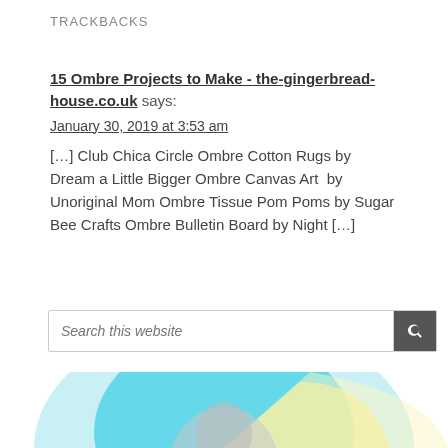TRACKBACKS
15 Ombre Projects to Make - the-gingerbread-house.co.uk says:
January 30, 2019 at 3:53 am
[…] Club Chica Circle Ombre Cotton Rugs by Dream a Little Bigger Ombre Canvas Art  by Unoriginal Mom Ombre Tissue Pom Poms by Sugar Bee Crafts Ombre Bulletin Board by Night […]
Search this website
[Figure (illustration): Partial circular profile image with light blue, yellow, and light blue-gray sections visible at the bottom of the page]